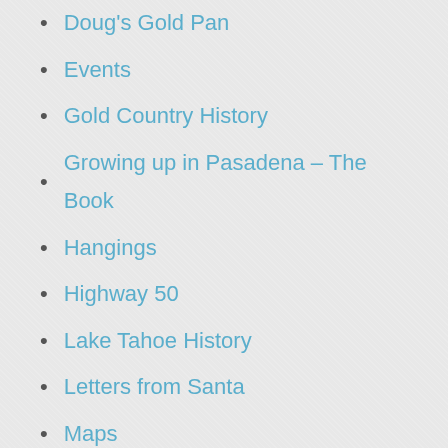Doug's Gold Pan
Events
Gold Country History
Growing up in Pasadena – The Book
Hangings
Highway 50
Lake Tahoe History
Letters from Santa
Maps
Mines of El Dorado County
Novels
Poetry
Post Offices of El Dorado County
Restaurant Reviews
Road Names of El Dorado County
Sacramento Valley Railroad
Squaw Hollow Sensation
Steppin' Out
This and That
Time Shift Times Two